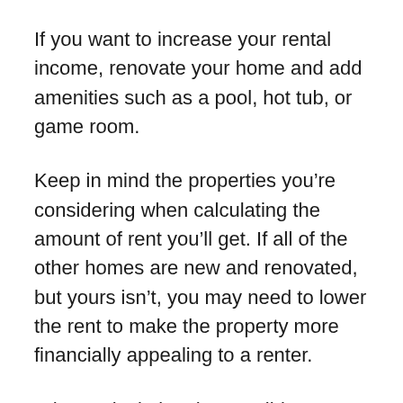If you want to increase your rental income, renovate your home and add amenities such as a pool, hot tub, or game room.
Keep in mind the properties you're considering when calculating the amount of rent you'll get. If all of the other homes are new and renovated, but yours isn't, you may need to lower the rent to make the property more financially appealing to a renter.
When calculating the possible return on your investment (ROI), rent is just half of the equation; you must also factor in the costs and expenditures associated with buying and maintaining a property.